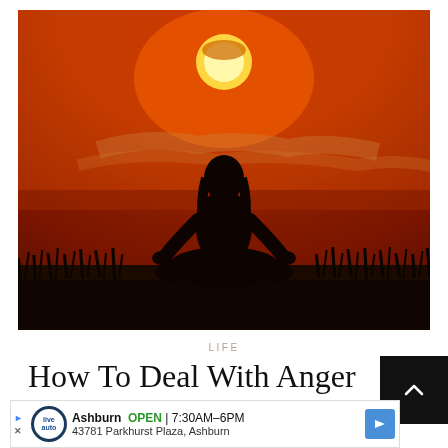[Figure (photo): A silhouette of a person sitting in a lotus yoga meditation pose against a dramatic orange-red sunset sky, with grass silhouettes in the foreground and a bright sun near the top center.]
LIFE
How To Deal With Anger
[Figure (other): A small black button with an upward chevron arrow, used as a scroll-up UI control.]
Ashburn  OPEN | 7:30AM–6PM
43781 Parkhurst Plaza, Ashburn